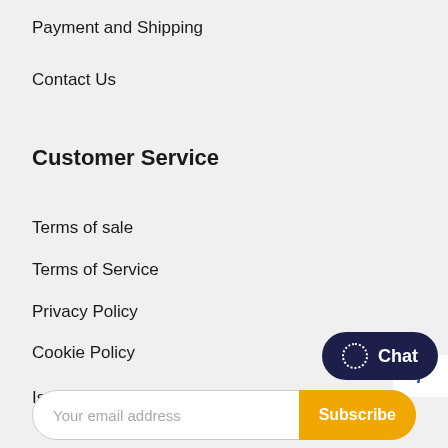Payment and Shipping
Contact Us
Customer Service
Terms of sale
Terms of Service
Privacy Policy
Cookie Policy
Iscriviti alla nostra newsletter
Your email address
Chat
Subscribe